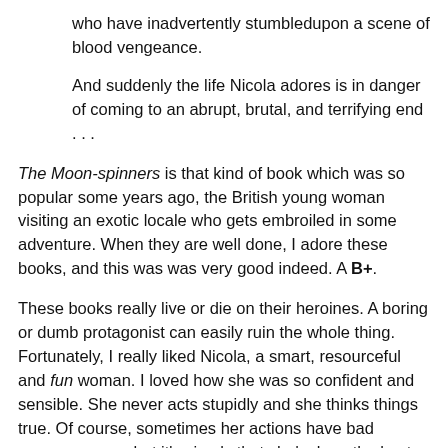who have inadvertently stumbledupon a scene of blood vengeance.
And suddenly the life Nicola adores is in danger of coming to an abrupt, brutal, and terrifying end . . .
The Moon-spinners is that kind of book which was so popular some years ago, the British young woman visiting an exotic locale who gets embroiled in some adventure. When they are well done, I adore these books, and this was was very good indeed. A B+.
These books really live or die on their heroines. A boring or dumb protagonist can easily ruin the whole thing. Fortunately, I really liked Nicola, a smart, resourceful and fun woman. I loved how she was so confident and sensible. She never acts stupidly and she thinks things true. Of course, sometimes her actions have bad consequences, but it's simply that she's done the best she can with the information she had, and she didn't have all the info.